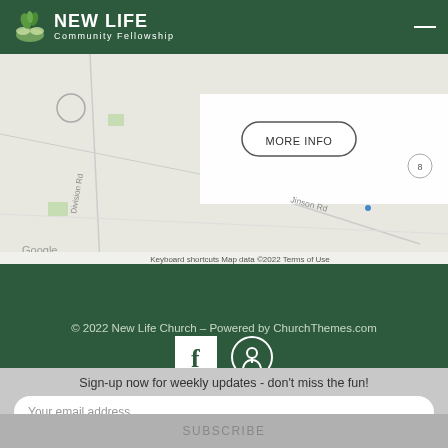NEW LIFE Community Fellowship
[Figure (map): Google Maps screenshot showing road map with 'MORE INFO' button overlay, roads including Jinson Rd and Division Rd, Google watermark, Keyboard shortcuts, Map data ©2022, Terms of Use labels]
[Figure (illustration): Dark green footer area with Facebook icon and Podcast/Apple Podcasts icon]
© 2022 New Life Church – Powered by ChurchThemes.com
Sign-up now for weekly updates - don't miss the fun!
Your email address..
SUBSCRIBE